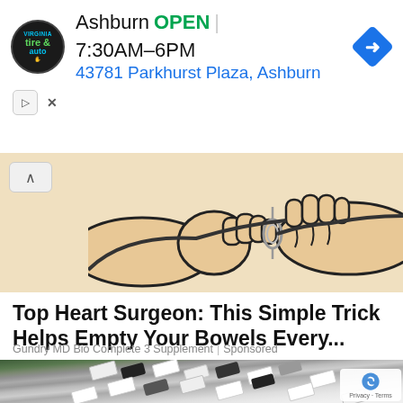[Figure (infographic): Advertisement banner for Virginia Tire & Auto Ashburn location. Shows circular logo with 'tire & auto' text, business name 'Ashburn', green 'OPEN' label, hours '7:30AM–6PM', address '43781 Parkhurst Plaza, Ashburn' in blue, and blue navigation diamond icon. Below: play button and X close button.]
[Figure (illustration): Cartoon/comic-style illustration of hands, partially visible, with a collapse/chevron up button in top-left corner. Beige/skin-tone colored illustrated hands on a light background.]
Top Heart Surgeon: This Simple Trick Helps Empty Your Bowels Every...
Gundry MD Bio Complete 3 Supplement | Sponsored
[Figure (photo): Aerial photograph of a busy parking lot filled with cars, mostly white and dark colored vehicles, viewed from above at an angle. Trees and a railway track visible on the left side. A few people visible walking in the lot. reCAPTCHA Privacy · Terms watermark in bottom right corner.]